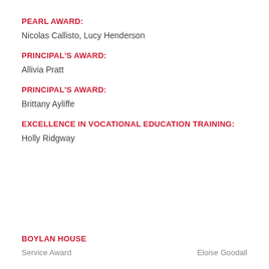PEARL AWARD:
Nicolas Callisto, Lucy Henderson
PRINCIPAL'S AWARD:
Allivia Pratt
PRINCIPAL'S AWARD:
Brittany Ayliffe
EXCELLENCE IN VOCATIONAL EDUCATION TRAINING:
Holly Ridgway
BOYLAN HOUSE
Service Award     Eloise Goodall